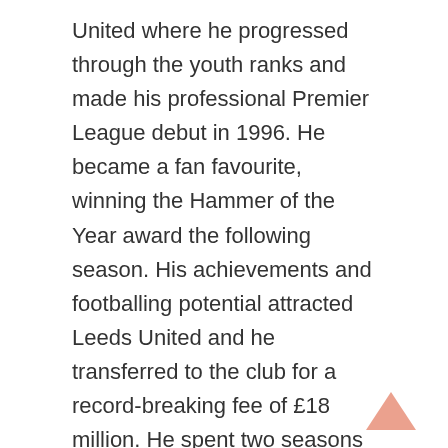United where he progressed through the youth ranks and made his professional Premier League debut in 1996. He became a fan favourite, winning the Hammer of the Year award the following season. His achievements and footballing potential attracted Leeds United and he transferred to the club for a record-breaking fee of £18 million. He spent two seasons at the club, becoming the team captain in 2001.
He joined Manchester United in July 2002 for around £30 million, breaking the transfer fee record once more. He won the Premier League, his first major club honour, in a successful first season at the club.He was included in the PFA Team of the Year for 6 seasons.
More club success followed with another Premier League win in the 2006-07 season and a Premier